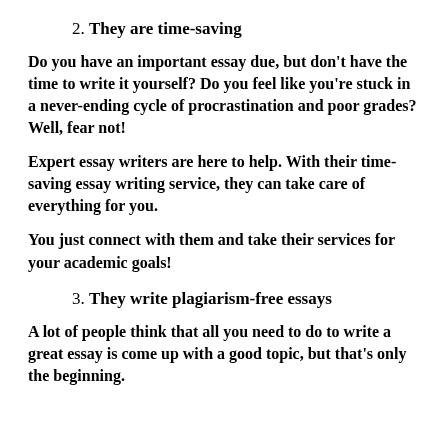2. They are time-saving
Do you have an important essay due, but don't have the time to write it yourself? Do you feel like you're stuck in a never-ending cycle of procrastination and poor grades? Well, fear not!
Expert essay writers are here to help. With their time-saving essay writing service, they can take care of everything for you.
You just connect with them and take their services for your academic goals!
3. They write plagiarism-free essays
A lot of people think that all you need to do to write a great essay is come up with a good topic, but that's only the beginning.